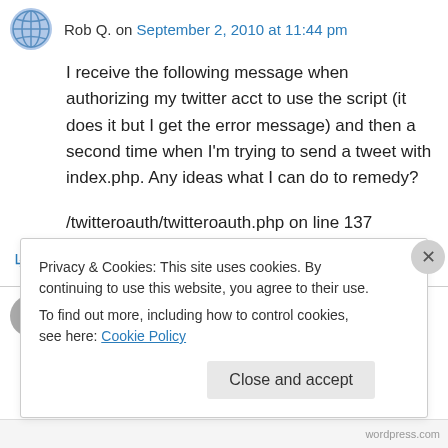Rob Q. on September 2, 2010 at 11:44 pm
I receive the following message when authorizing my twitter acct to use the script (it does it but I get the error message) and then a second time when I'm trying to send a tweet with index.php. Any ideas what I can do to remedy?

/twitteroauth/twitteroauth.php on line 137
↳ Reply
Privacy & Cookies: This site uses cookies. By continuing to use this website, you agree to their use.
To find out more, including how to control cookies, see here: Cookie Policy
Close and accept